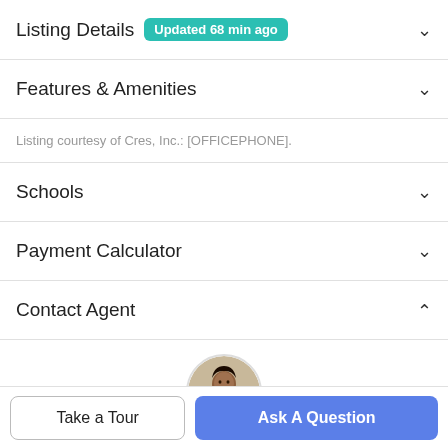Listing Details  Updated 68 min ago
Features & Amenities
Listing courtesy of Cres, Inc.: [OFFICEPHONE].
Schools
Payment Calculator
Contact Agent
[Figure (photo): Circular profile photo of a woman smiling, outdoors with greenery behind her]
Take a Tour
Ask A Question